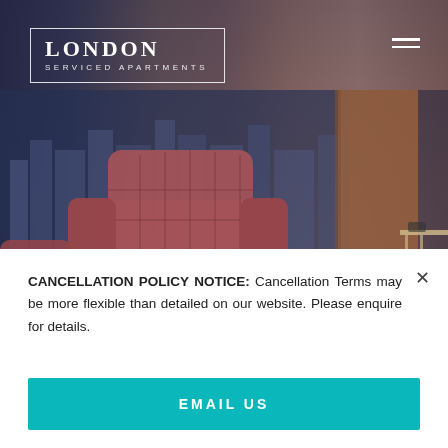[Figure (photo): Interior of a London serviced apartment showing a tufted dusty rose/burgundy armchair in the foreground, floor-to-ceiling windows with a city skyline view, and a warm-toned wood partition wall on the right. The scene has a moody, upscale atmosphere.]
LONDON
SERVICED APARTMENTS
CANCELLATION POLICY NOTICE: Cancellation Terms may be more flexible than detailed on our website. Please enquire for details.
EMAIL US